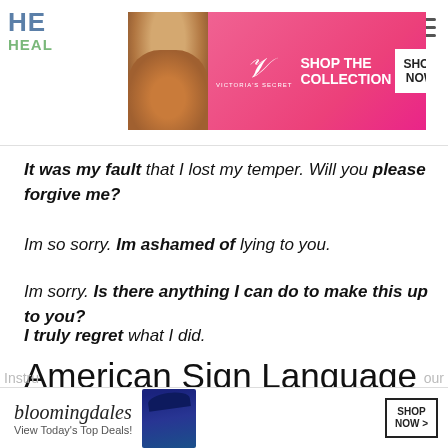HE HEAL [website header with logo and navigation]
[Figure (photo): Victoria's Secret advertisement banner with model and 'SHOP THE COLLECTION / SHOP NOW' button]
It was my fault that I lost my temper. Will you please forgive me?
Im so sorry. Im ashamed of lying to you.
Im sorry. Is there anything I can do to make this up to you?
I truly regret what I did.
American Sign Language For Nice To Meet You
[Figure (photo): Bloomingdale's advertisement banner with model wearing hat and 'SHOP NOW >' button]
Instru ... our